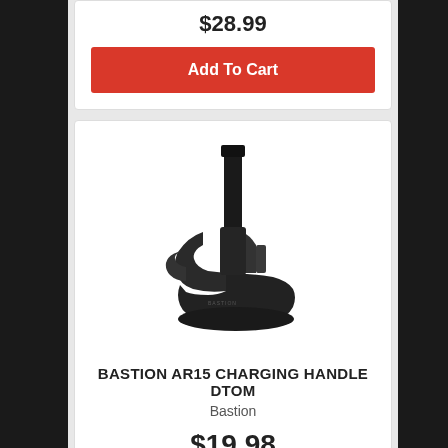$28.99
Add To Cart
[Figure (photo): Bastion AR15 charging handle with DTOM (Don't Tread On Me) design, black metal component shown from front/side angle]
BASTION AR15 CHARGING HANDLE DTOM
Bastion
$19.98
Add To Cart